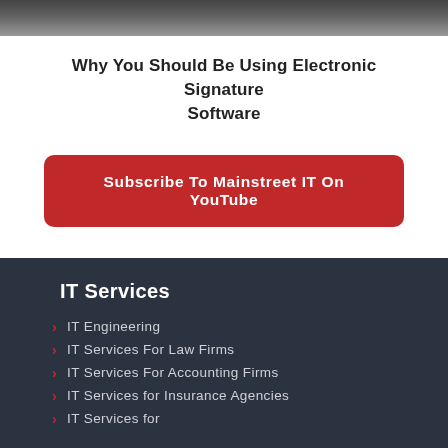[Figure (photo): Partial photo of a person, cropped at top of page]
Why You Should Be Using Electronic Signature Software
Subscribe To Mainstreet IT On YouTube
IT Services
IT Engineering
IT Services For Law Firms
IT Services For Accounting Firms
IT Services for Insurance Agencies
IT Services for